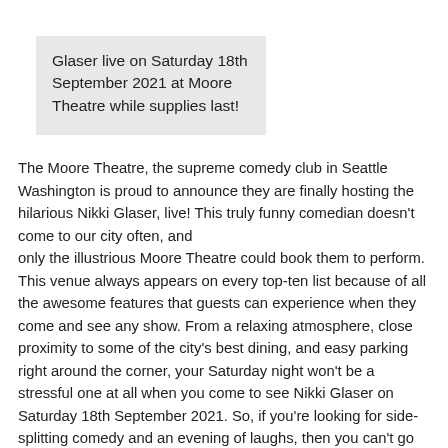Glaser live on Saturday 18th September 2021 at Moore Theatre while supplies last!
The Moore Theatre, the supreme comedy club in Seattle Washington is proud to announce they are finally hosting the hilarious Nikki Glaser, live! This truly funny comedian doesn't come to our city often, and only the illustrious Moore Theatre could book them to perform. This venue always appears on every top-ten list because of all the awesome features that guests can experience when they come and see any show. From a relaxing atmosphere, close proximity to some of the city's best dining, and easy parking right around the corner, your Saturday night won't be a stressful one at all when you come to see Nikki Glaser on Saturday 18th September 2021. So, if you're looking for side-splitting comedy and an evening of laughs, then you can't go wrong by dropping by the Moore Theatre. You can buy your